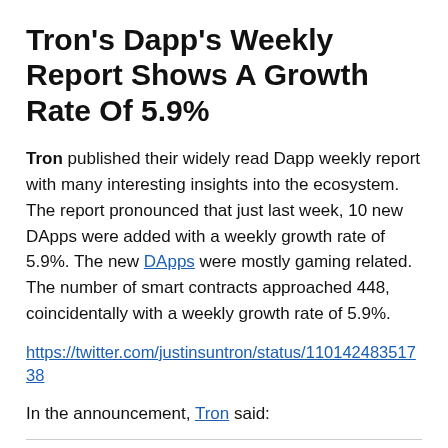Tron's Dapp's Weekly Report Shows A Growth Rate Of 5.9%
Tron published their widely read Dapp weekly report with many interesting insights into the ecosystem. The report pronounced that just last week, 10 new DApps were added with a weekly growth rate of 5.9%. The new DApps were mostly gaming related. The number of smart contracts approached 448, coincidentally with a weekly growth rate of 5.9%.
https://twitter.com/justinsuntron/status/11014248351738
In the announcement, Tron said:
"According to the data from...